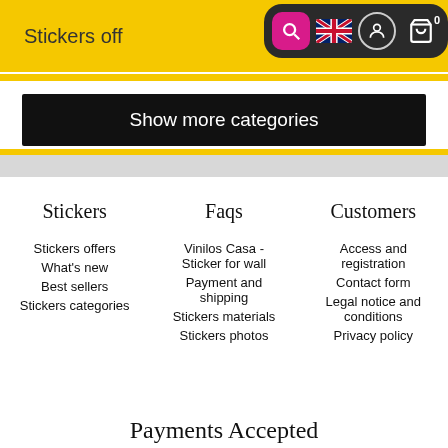Stickers off [search bar with icons: search, UK flag, user, cart 0]
Show more categories
Stickers
Faqs
Customers
Stickers offers
What's new
Best sellers
Stickers categories
Vinilos Casa - Sticker for wall
Payment and shipping
Stickers materials
Stickers photos
Access and registration
Contact form
Legal notice and conditions
Privacy policy
Payments Accepted